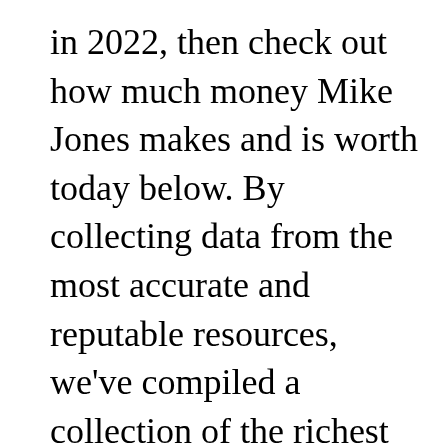in 2022, then check out how much money Mike Jones makes and is worth today below. By collecting data from the most accurate and reputable resources, we've compiled a collection of the richest celebrities and their net worths.